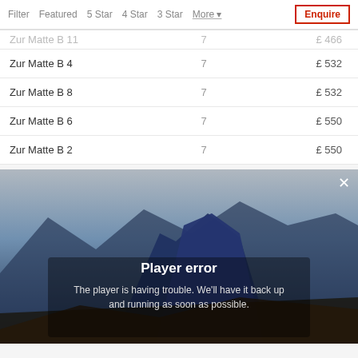Filter  Featured  5 Star  4 Star  3 Star  More  Enquire
| Zur Matte B 11 | 7 | £ 466 |
| Zur Matte B 4 | 7 | £ 532 |
| Zur Matte B 8 | 7 | £ 532 |
| Zur Matte B 6 | 7 | £ 550 |
| Zur Matte B 2 | 7 | £ 550 |
[Figure (screenshot): Video player with mountain background showing a player error overlay message: 'Player error — The player is having trouble. We'll have it back up and running as soon as possible.' with a close (×) button in the top right.]